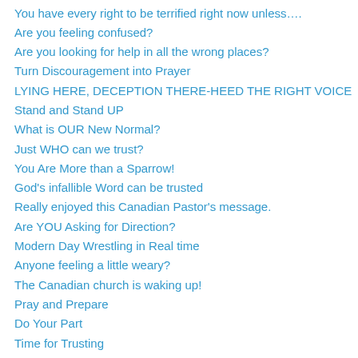You have every right to be terrified right now unless….
Are you feeling confused?
Are you looking for help in all the wrong places?
Turn Discouragement into Prayer
LYING HERE, DECEPTION THERE-HEED THE RIGHT VOICE
Stand and Stand UP
What is OUR New Normal?
Just WHO can we trust?
You Are More than a Sparrow!
God's infallible Word can be trusted
Really enjoyed this Canadian Pastor's message.
Are YOU Asking for Direction?
Modern Day Wrestling in Real time
Anyone feeling a little weary?
The Canadian church is waking up!
Pray and Prepare
Do Your Part
Time for Trusting
Fess Up
This Little Light